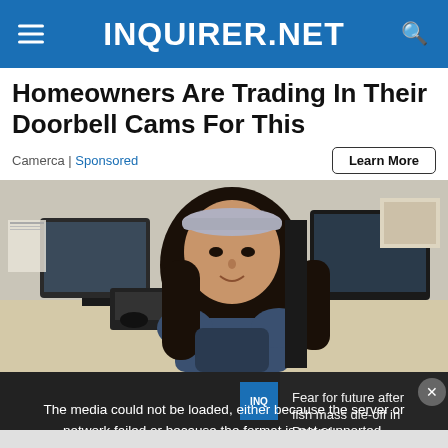INQUIRER.NET
Homeowners Are Trading In Their Doorbell Cams For This
Camerca | Sponsored
Learn More
[Figure (photo): Woman with headband sitting at an office desk with a phone, computer monitors, and office supplies in the background.]
[Figure (screenshot): Video overlay showing error message: 'The media could not be loaded, either because the server or network failed or because the format is not supported.' with side caption 'Fear for future after fish mass die-off in Poland' and lower text 'FEAR FOR FUTURE AFTER FISH MASS DIE-OFF IN POLAND'. An X close button is visible at the bottom center.]